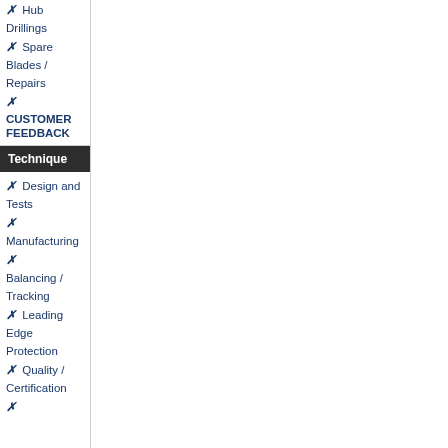✗  Hub Drillings
✗  Spare Blades / Repairs
✗
CUSTOMER FEEDBACK
Technique
✗  Design and Tests
✗  Manufacturing
✗  Balancing / Tracking
✗  Leading Edge Protection
✗  Quality / Certification
✗